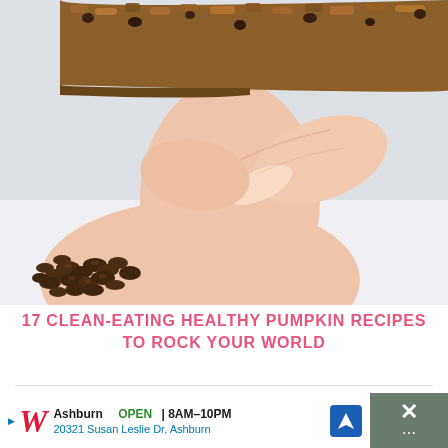[Figure (photo): A hand holding a pumpkin oat chocolate chip bar/cookie close up, with a pile of chocolate chips visible in the lower left corner on a white/light gray background.]
17 CLEAN-EATING HEALTHY PUMPKIN RECIPES TO ROCK YOUR WORLD
[Figure (infographic): Advertisement bar: Walgreens ad showing 'Ashburn OPEN 8AM-10PM, 20321 Susan Leslie Dr, Ashburn' with navigation arrow icon and a close button with X.]